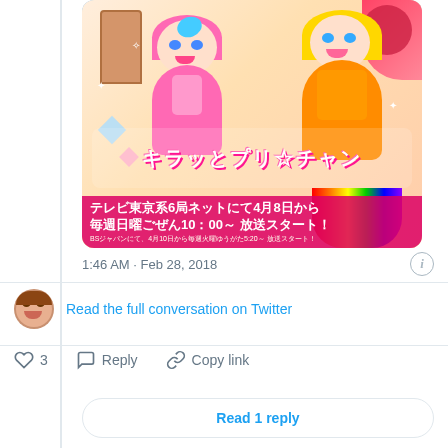[Figure (illustration): Anime promotional image for Kiratto Pri☆Chan, showing two colorful anime girls in idol outfits, with Japanese text announcing the TV broadcast starting April 8 on TV Tokyo network, every Sunday at 10:00 AM.]
1:46 AM · Feb 28, 2018
Read the full conversation on Twitter
3  Reply  Copy link
Read 1 reply